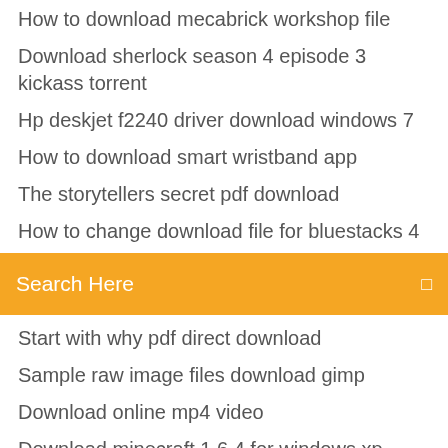How to download mecabrick workshop file
Download sherlock season 4 episode 3 kickass torrent
Hp deskjet f2240 driver download windows 7
How to download smart wristband app
The storytellers secret pdf download
How to change download file for bluestacks 4
Search Here
Start with why pdf direct download
Sample raw image files download gimp
Download online mp4 video
Download minecraft 1.6.4 for windows xp
Harry potter game pc download
Yandere simulator download version
How to download cogi file from android
Serato dj 1.1.1 full version free download
Manasuku nachindi torrent download
Windows 10 home version 1809 manual download
Download torrent file online